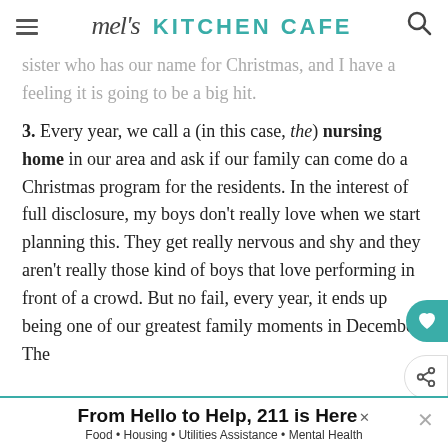mel's KITCHEN CAFE
sister who has our name for Christmas, and I have a feeling it is going to be a big hit.
3. Every year, we call a (in this case, the) nursing home in our area and ask if our family can come do a Christmas program for the residents. In the interest of full disclosure, my boys don't really love when we start planning this. They get really nervous and shy and they aren't really those kind of boys that love performing in front of a crowd. But no fail, every year, it ends up being one of our greatest family moments in December. The
From Hello to Help, 211 is Here
Food • Housing • Utilities Assistance • Mental Health